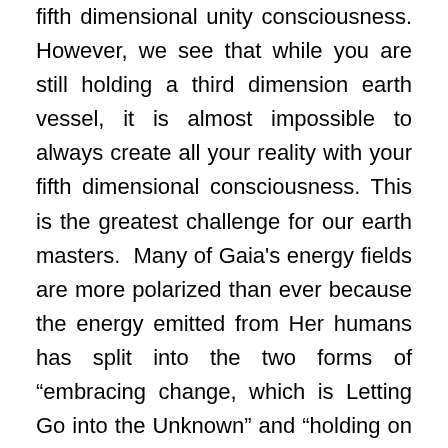fifth dimensional unity consciousness. However, we see that while you are still holding a third dimension earth vessel, it is almost impossible to always create all your reality with your fifth dimensional consciousness. This is the greatest challenge for our earth masters.  Many of Gaia's energy fields are more polarized than ever because the energy emitted from Her humans has split into the two forms of “embracing change, which is Letting Go into the Unknown” and “holding on to that which is familiar, which is Holding On to the Known.” Therefore, there are strong opposing energy fields, which initially become fourth dimensional thought-forms filled with emotion looking to create a physical form. You can identify the polarity of these thought forms by trusting how they FEEL within your heart and your High Heart.    When you experience the higher frequency feeling, allow that wave of light and love to share its gift with you. On the other hand, when